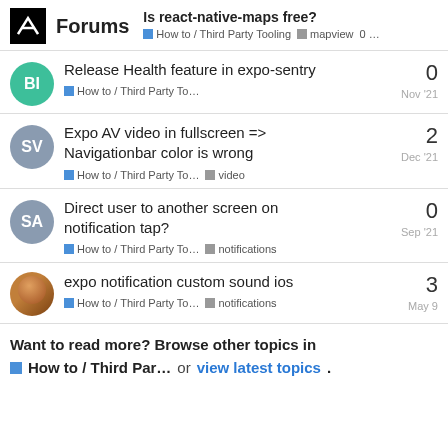Forums | Is react-native-maps free? | How to / Third Party Tooling | mapview | 0 ...
Release Health feature in expo-sentry | How to / Third Party To... | Nov '21 | 0 replies
Expo AV video in fullscreen => Navigationbar color is wrong | How to / Third Party To... | video | Dec '21 | 2 replies
Direct user to another screen on notification tap? | How to / Third Party To... | notifications | Sep '21 | 0 replies
expo notification custom sound ios | How to / Third Party To... | notifications | May 9 | 3 replies
Want to read more? Browse other topics in How to / Third Par... or view latest topics.